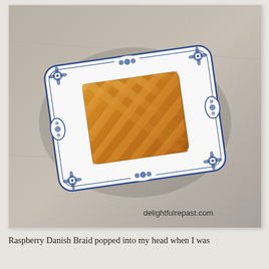[Figure (photo): A braided Danish pastry with golden-brown flaky puff pastry arranged on a white blue-and-white floral decorated rectangular serving platter, photographed from above on a gray stone surface. Watermark text reads 'delightfulrepast.com'.]
Raspberry Danish Braid popped into my head when I was